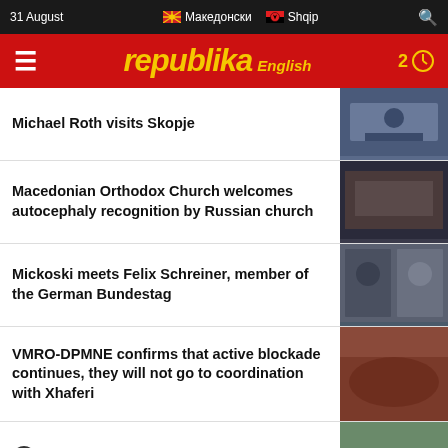31 August | Македонски | Shqip
[Figure (screenshot): Republika English news website header with red background, yellow logo text 'republika English', hamburger menu, and clock/notification icon showing '2']
Michael Roth visits Skopje
Macedonian Orthodox Church welcomes autocephaly recognition by Russian church
Mickoski meets Felix Schreiner, member of the German Bundestag
VMRO-DPMNE confirms that active blockade continues, they will not go to coordination with Xhaferi
▶ Severe storm engulfs Skopje
4 patients die, 240 new Covid-19 cases